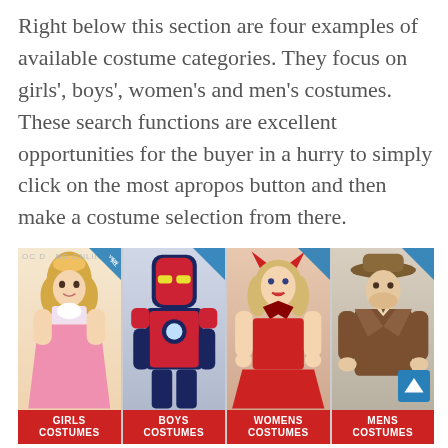Right below this section are four examples of available costume categories. They focus on girls', boys', women's and men's costumes. These search functions are excellent opportunities for the buyer in a hurry to simply click on the most apropos button and then make a costume selection from there.
[Figure (photo): Four costume category cards side by side: Girls Costumes (girl in princess dress), Boys Costumes (Iron Man armor), Womens Costumes (woman in red devil costume), Mens Costumes (man in Indiana Jones style outfit). Each card has a red label at the bottom and a VIEW ALL badge in the top right corner.]